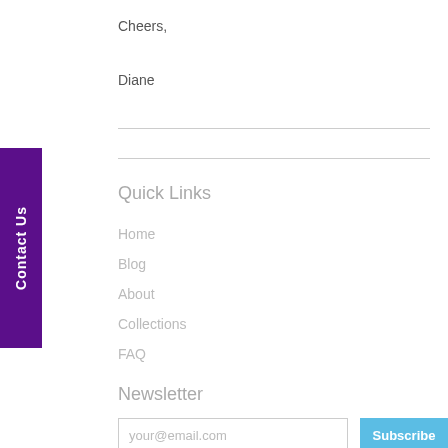Cheers,
Diane
Quick Links
Home
Blog
About
Collections
FAQ
Newsletter
your@email.com
Subscribe
Follow Us